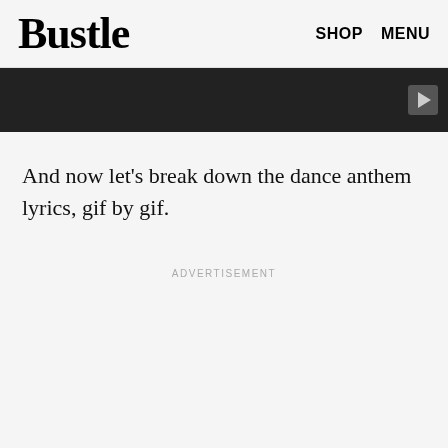Bustle  SHOP  MENU
[Figure (other): Dark video player bar with play button on right side]
And now let's break down the dance anthem lyrics, gif by gif.
ADVERTISEMENT